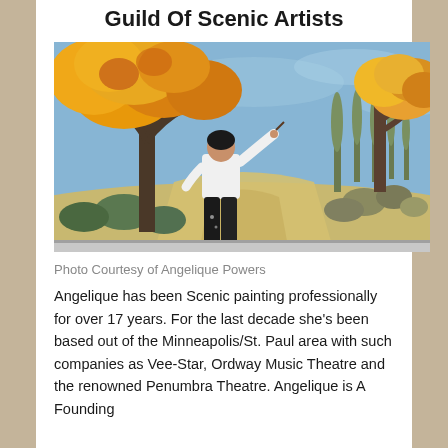Guild Of Scenic Artists
[Figure (photo): A person in a white shirt and black pants painting a large scenic mural depicting an autumn landscape with orange and yellow trees, green shrubs, and a dirt path under a blue sky.]
Photo Courtesy of Angelique Powers
Angelique has been Scenic painting professionally for over 17 years. For the last decade she's been based out of the Minneapolis/St. Paul area with such companies as Vee-Star, Ordway Music Theatre and the renowned Penumbra Theatre. Angelique is A Founding